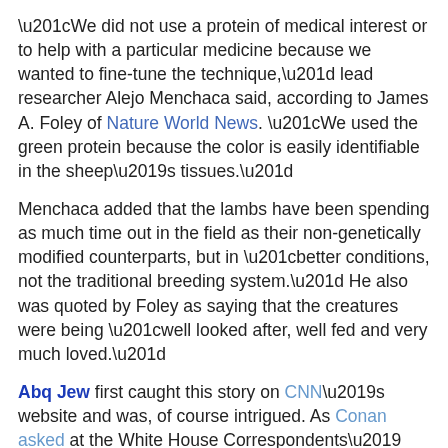“We did not use a protein of medical interest or to help with a particular medicine because we wanted to fine-tune the technique,” lead researcher Alejo Menchaca said, according to James A. Foley of Nature World News. “We used the green protein because the color is easily identifiable in the sheep’s tissues.”
Menchaca added that the lambs have been spending as much time out in the field as their non-genetically modified counterparts, but in “better conditions, not the traditional breeding system.” He also was quoted by Foley as saying that the creatures were being “well looked after, well fed and very much loved.”
Abq Jew first caught this story on CNN’s website and was, of course intrigued. As Conan asked at the White House Correspondents’ Dinner:
You're watching CNN?